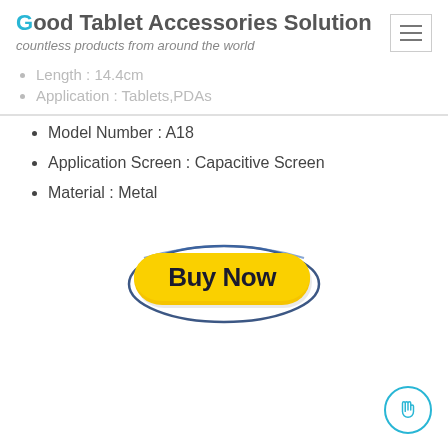Good Tablet Accessories Solution
countless products from around the world
Length : 14.4cm
Application : Tablets,PDAs
Model Number : A18
Application Screen : Capacitive Screen
Material : Metal
[Figure (illustration): Yellow 'Buy Now' button with dark blue oval border and swoosh decoration, bold black text on yellow rounded rectangle]